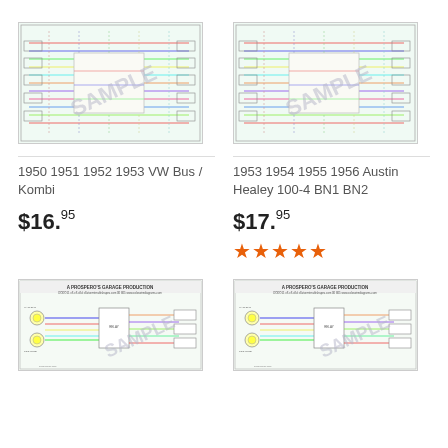[Figure (schematic): Color wiring diagram sample for 1950 1951 1952 1953 VW Bus / Kombi with SAMPLE watermark]
[Figure (schematic): Color wiring diagram sample for 1953 1954 1955 1956 Austin Healey 100-4 BN1 BN2 with SAMPLE watermark]
1950 1951 1952 1953 VW Bus / Kombi
1953 1954 1955 1956 Austin Healey 100-4 BN1 BN2
$16.95
$17.95
★★★★★ (5 stars)
[Figure (schematic): Color wiring diagram sample (Prospero's Garage Production) with SAMPLE watermark - bottom left]
[Figure (schematic): Color wiring diagram sample (Prospero's Garage Production) with SAMPLE watermark - bottom right]